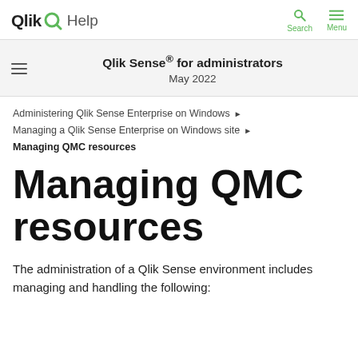Qlik Help — Search — Menu
Qlik Sense® for administrators
May 2022
Administering Qlik Sense Enterprise on Windows ▶
Managing a Qlik Sense Enterprise on Windows site ▶
Managing QMC resources
Managing QMC resources
The administration of a Qlik Sense environment includes managing and handling the following: